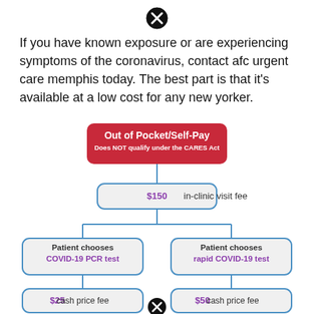[Figure (other): Black X/close icon circle at top]
If you have known exposure or are experiencing symptoms of the coronavirus, contact afc urgent care memphis today. The best part is that it's available at a low cost for any new yorker.
[Figure (flowchart): Flowchart showing Out of Pocket/Self-Pay path: top red box 'Out of Pocket/Self-Pay - Does NOT qualify under the CARES Act', connecting down to '$150 in-clinic visit fee', then splitting left to 'Patient chooses COVID-19 PCR test' -> '$25 cash price fee', and right to 'Patient chooses rapid COVID-19 test' -> '$50 cash price fee', with another X icon at bottom center.]